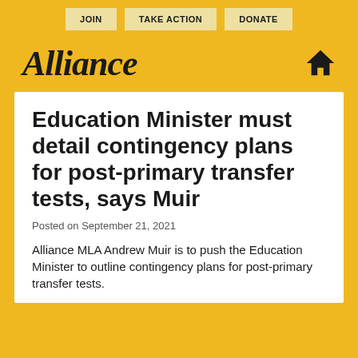JOIN | TAKE ACTION | DONATE
Alliance
Education Minister must detail contingency plans for post-primary transfer tests, says Muir
Posted on September 21, 2021
Alliance MLA Andrew Muir is to push the Education Minister to outline contingency plans for post-primary transfer tests.